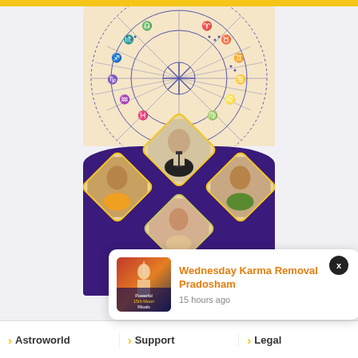[Figure (illustration): Astrology promotional banner with zodiac wheel at top, purple section with four astrologer photos in diamond frames, and a pink 'CALL NOW' button at bottom]
[Figure (illustration): Notification popup showing a Lord Shiva image with text about 'Powerful 15th Moon Rituals']
Wednesday Karma Removal Pradosham
15 hours ago
Astroworld
Support
Legal